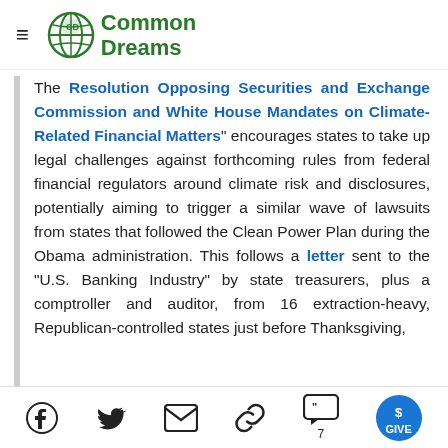Common Dreams
The "Resolution Opposing Securities and Exchange Commission and White House Mandates on Climate-Related Financial Matters" encourages states to take up legal challenges against forthcoming rules from federal financial regulators around climate risk and disclosures, potentially aiming to trigger a similar wave of lawsuits from states that followed the Clean Power Plan during the Obama administration. This follows a letter sent to the "U.S. Banking Industry" by state treasurers, plus a comptroller and auditor, from 16 extraction-heavy, Republican-controlled states just before Thanksgiving,
Social share icons: Facebook, Twitter, Email, Link, Comments (7), Give